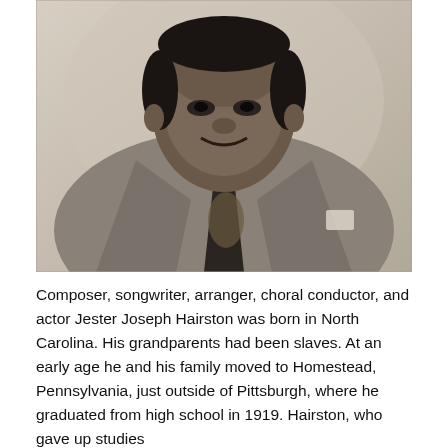[Figure (photo): Black and white portrait photograph of Jester Joseph Hairston, a man wearing a suit jacket, dress shirt, and patterned tie, smiling slightly, photographed from roughly chest up.]
Composer, songwriter, arranger, choral conductor, and actor Jester Joseph Hairston was born in North Carolina. His grandparents had been slaves. At an early age he and his family moved to Homestead, Pennsylvania, just outside of Pittsburgh, where he graduated from high school in 1919. Hairston, who gave up studies